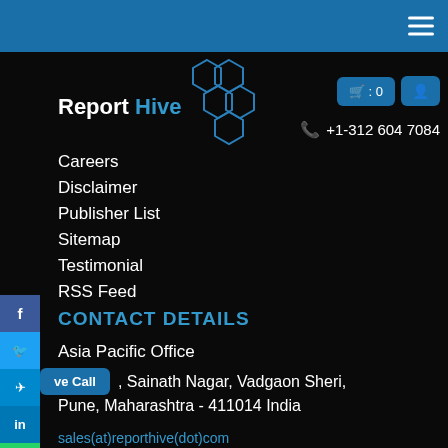ReportHive navigation bar with hamburger menu
[Figure (logo): ReportHive logo with hexagonal honeycomb graphic and text 'Report Hive']
🛒: 0  👤
📞 +1-312 604 7084
Careers
Disclaimer
Publisher List
Sitemap
Testimonial
RSS Feed
CONTACT DETAILS
Asia Pacific Office
, Sainath Nagar, Vadgaon Sheri,
Pune, Maharashtra - 411014 India
sales(at)reporthive(dot)com
+1-312-604-7084